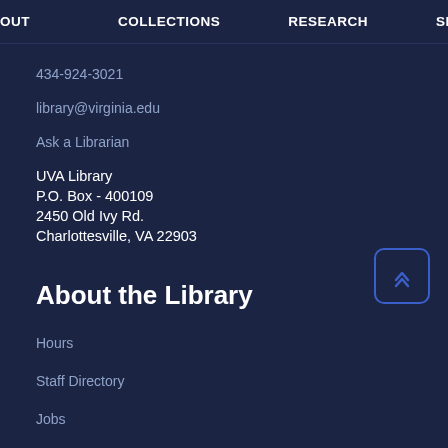OUT   COLLECTIONS   RESEARCH   SERVICES
434-924-3021
library@virginia.edu
Ask a Librarian
UVA Library
P.O. Box - 400109
2450 Old Ivy Rd.
Charlottesville, VA 22903
About the Library
Hours
Staff Directory
Jobs
Press